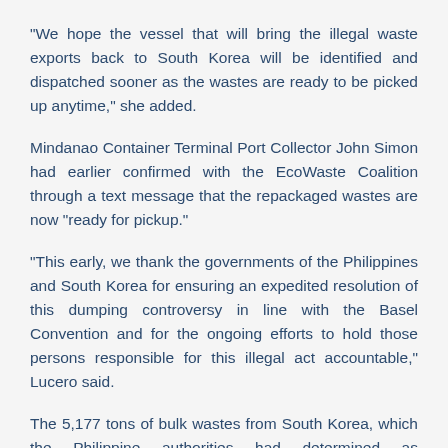“We hope the vessel that will bring the illegal waste exports back to South Korea will be identified and dispatched sooner as the wastes are ready to be picked up anytime,” she added.
Mindanao Container Terminal Port Collector John Simon had earlier confirmed with the EcoWaste Coalition through a text message that the repackaged wastes are now “ready for pickup.”
“This early, we thank the governments of the Philippines and South Korea for ensuring an expedited resolution of this dumping controversy in line with the Basel Convention and for the ongoing efforts to hold those persons responsible for this illegal act accountable,” Lucero said.
The 5,177 tons of bulk wastes from South Korea, which the Philippine authorities had determined as “misdeclared, heterogenous and injurious to public health,” have been sitting